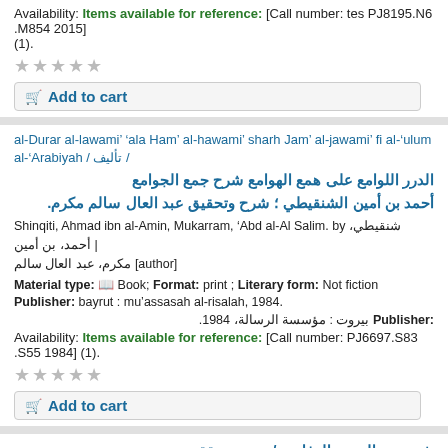Availability: Items available for reference: [Call number: tes PJ8195.N6 .M854 2015] (1).
★★★★★ (stars rating)
Add to cart
al-Durar al-lawami' 'ala Ham' al-hawami' sharh Jam' al-jawami' fi al-'ulum al-'Arabiyah / تأليف / الدرر اللوامع على همع الهوامع شرح جمع الجوامع أحمد بن أمين الشنقيطي ؛ شرح وتحقيق عبد العال سالم مكرم.
Shinqiti, Ahmad ibn al-Amin, Mukarram, 'Abd al-Al Salim. by شنقيطي، أحمد، بن أمين | مكرم، عبد العال سالم [author].
Material type: Book; Format: print ; Literary form: Not fiction
Publisher: bayrut : mu'assasah al-risalah, 1984.
Publisher: بيروت : مؤسسة الرسالة، 1984.
Availability: Items available for reference: [Call number: PJ6697.S83 .S55 1984] (1).
★★★★★ (stars rating)
Add to cart
شعر عبد المنعم الرفاعي / جمعه وحققه وقدم له إبراهيم الكوفحي. Shi'r 'Abd al-Mun'im al-Rifa'i /
Rifa'i, 'Abd al-Mun'im. Kufahi, Ibrahim. by رفاعي، عبد المنعم [author] | كوفحي، ابراهيم [editor].
Edition: مطبعة السف